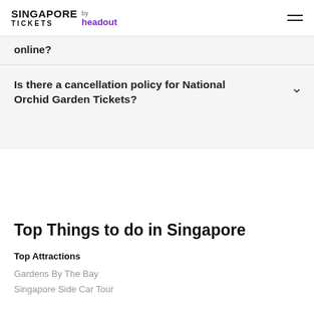SINGAPORE TICKETS by headout
online?
Is there a cancellation policy for National Orchid Garden Tickets?
Top Things to do in Singapore
Top Attractions
Gardens By The Bay
Singapore Side Car Tour